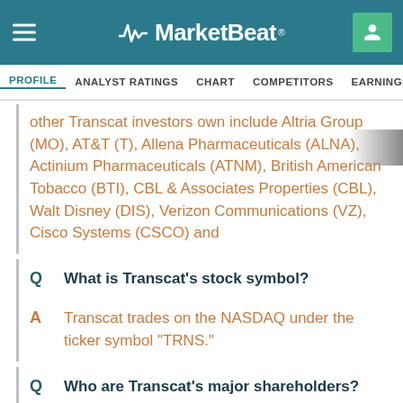MarketBeat
PROFILE  ANALYST RATINGS  CHART  COMPETITORS  EARNINGS  FINANCIALS
other Transcat investors own include Altria Group (MO), AT&T (T), Allena Pharmaceuticals (ALNA), Actinium Pharmaceuticals (ATNM), British American Tobacco (BTI), CBL & Associates Properties (CBL), Walt Disney (DIS), Verizon Communications (VZ), Cisco Systems (CSCO) and
Q  What is Transcat's stock symbol?
A  Transcat trades on the NASDAQ under the ticker symbol "TRNS."
Q  Who are Transcat's major shareholders?
A  Transcat's stock is owned by a variety of